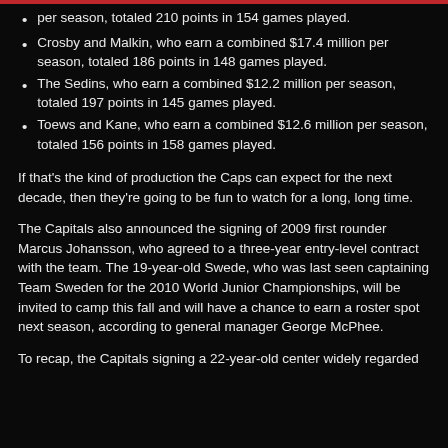per season, totaled 210 points in 154 games played.
Crosby and Malkin, who earn a combined $17.4 million per season, totaled 186 points in 148 games played.
The Sedins, who earn a combined $12.2 million per season, totaled 197 points in 145 games played.
Toews and Kane, who earn a combined $12.6 million per season, totaled 156 points in 158 games played.
If that's the kind of production the Caps can expect for the next decade, then they're going to be fun to watch for a long, long time.
The Capitals also announced the signing of 2009 first rounder Marcus Johansson, who agreed to a three-year entry-level contract with the team. The 19-year-old Swede, who was last seen captaining Team Sweden for the 2010 World Junior Championships, will be invited to camp this fall and will have a chance to earn a roster spot next season, according to general manager George McPhee.
To recap, the Capitals signing a 22-year-old center widely regarded